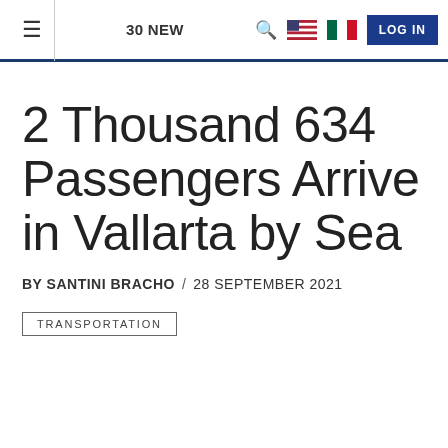≡  30 NEW  🔍  🇺🇸 🇲🇽  LOG IN
2 Thousand 634 Passengers Arrive in Vallarta by Sea
BY SANTINI BRACHO  /  28 SEPTEMBER 2021
TRANSPORTATION